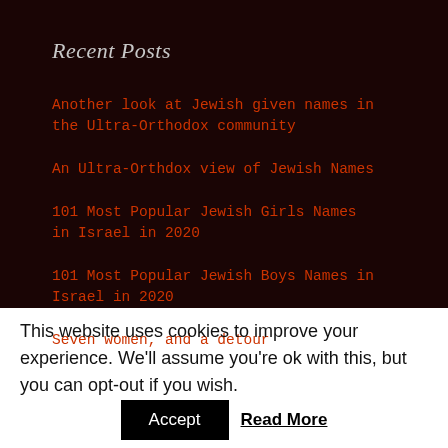Recent Posts
Another look at Jewish given names in the Ultra-Orthodox community
An Ultra-Orthdox view of Jewish Names
101 Most Popular Jewish Girls Names in Israel in 2020
101 Most Popular Jewish Boys Names in Israel in 2020
Seven women, and a detour
This website uses cookies to improve your experience. We'll assume you're ok with this, but you can opt-out if you wish.
Accept
Read More